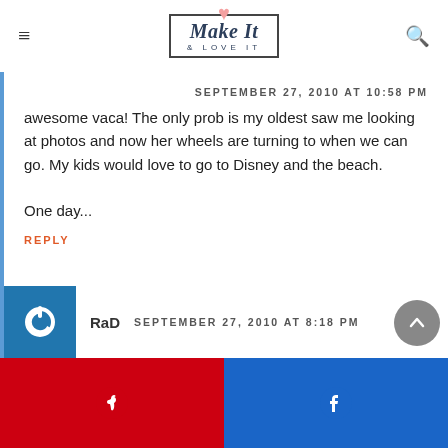[Figure (logo): Make It & Love It blog logo with heart above, text in decorative border]
SEPTEMBER 27, 2010 AT 10:58 PM
awesome vaca! The only prob is my oldest saw me looking at photos and now her wheels are turning to when we can go. My kids would love to go to Disney and the beach.

One day...
REPLY
RaD   SEPTEMBER 27, 2010 AT 8:18 PM
[Figure (infographic): Social share bar with Pinterest (red) and Facebook (blue) buttons at bottom]